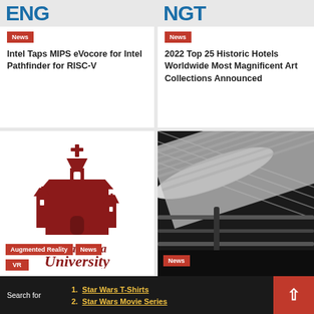[Figure (screenshot): Top-left news card with 'News' badge and partial logo visible at top]
Intel Taps MIPS eVocore for Intel Pathfinder for RISC-V
[Figure (screenshot): Top-right news card with 'News' badge]
2022 Top 25 Historic Hotels Worldwide Most Magnificent Art Collections Announced
[Figure (logo): Santa Clara University logo - red church silhouette with text 'Santa Clara University']
[Figure (photo): Black and white photo of newspaper printing press rolls with 'News' badge]
Search for
1. Star Wars T-Shirts
2. Star Wars Movie Series